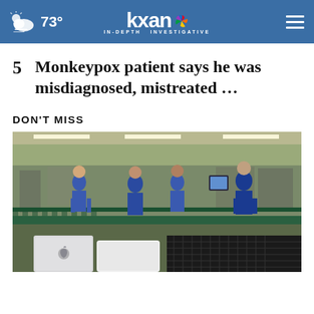73° KXAN IN-DEPTH INVESTIGATIVE
5  Monkeypox patient says he was misdiagnosed, mistreated …
DON'T MISS
[Figure (photo): Workers in blue uniforms on a factory assembly line with manufacturing equipment and machinery, with an Apple Mac Pro box visible in the foreground]